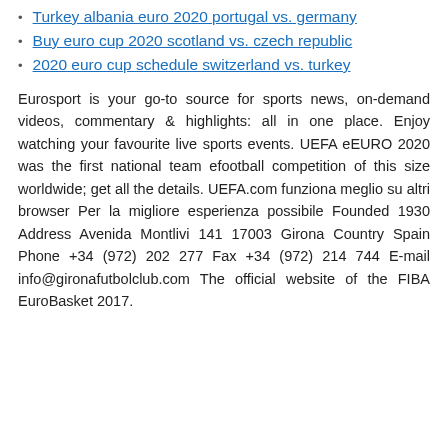Turkey albania euro 2020 portugal vs. germany
Buy euro cup 2020 scotland vs. czech republic
2020 euro cup schedule switzerland vs. turkey
Eurosport is your go-to source for sports news, on-demand videos, commentary & highlights: all in one place. Enjoy watching your favourite live sports events. UEFA eEURO 2020 was the first national team efootball competition of this size worldwide; get all the details. UEFA.com funziona meglio su altri browser Per la migliore esperienza possibile Founded 1930 Address Avenida Montlivi 141 17003 Girona Country Spain Phone +34 (972) 202 277 Fax +34 (972) 214 744 E-mail info@gironafutbolclub.com The official website of the FIBA EuroBasket 2017.